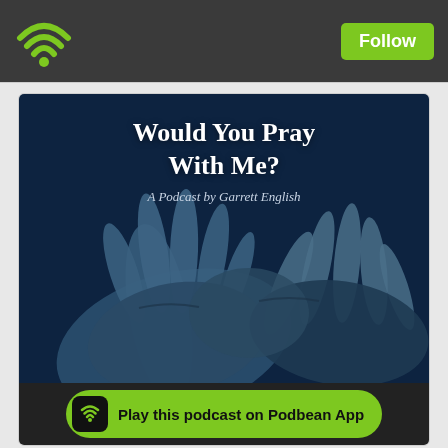[Figure (logo): Podbean green WiFi/podcast logo in top left of dark navigation bar]
Follow
[Figure (illustration): Podcast cover art: dark navy background with two clasped hands in teal/blue tones. Title reads 'Would You Pray With Me? A Podcast by Garrett English']
Would You Pray With Me?
A Podcast by Garrett English
Play this podcast on Podbean App